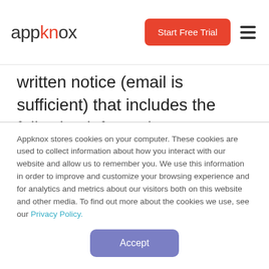appknox | Start Free Trial
written notice (email is sufficient) that includes the following information: An electronic or physical signature of a person authorised to act on behalf of the owner of the exclusive right that is allegedly infringed Identification of the copyrighted work claimed to have been infringed A description of where the material that you claim is infringing is located on the
Appknox stores cookies on your computer. These cookies are used to collect information about how you interact with our website and allow us to remember you. We use this information in order to improve and customize your browsing experience and for analytics and metrics about our visitors both on this website and other media. To find out more about the cookies we use, see our Privacy Policy.
Accept